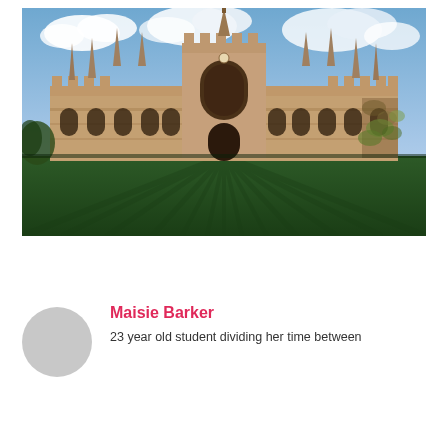[Figure (photo): Photograph of a Gothic-style university building (likely Cambridge) with stone facade, arched windows, pointed spires, and a manicured striped lawn in the foreground under a partly cloudy sky.]
About   Latest Posts
Maisie Barker
23 year old student dividing her time between